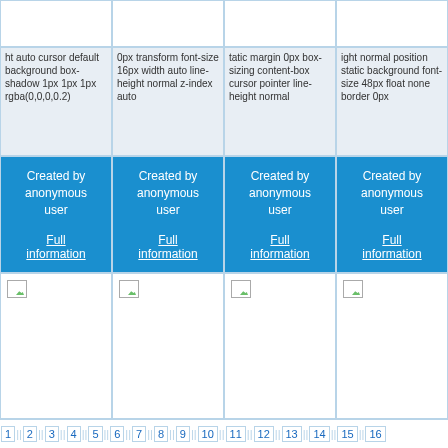[Figure (screenshot): Grid of web cards showing CSS property text and user attribution with pagination links. Top row shows blank image placeholders, followed by truncated CSS property text in gray boxes, blue 'Created by anonymous user / Full information' cards, larger image placeholders with broken image icons, and a pagination row numbered 1-16.]
ht auto cursor default background box-shadow 1px 1px 1px rgba(0,0,0,0.2)
0px transform font-size 16px width auto line-height normal z-index auto
tatic margin 0px box-sizing content-box cursor pointer line-height normal
ight normal position static background font-size 48px float none border 0px
Created by anonymous user
Full information
Created by anonymous user
Full information
Created by anonymous user
Full information
Created by anonymous user
Full information
1 || 2 || 3 || 4 || 5 || 6 || 7 || 8 || 9 || 10 || 11 || 12 || 13 || 14 || 15 || 16